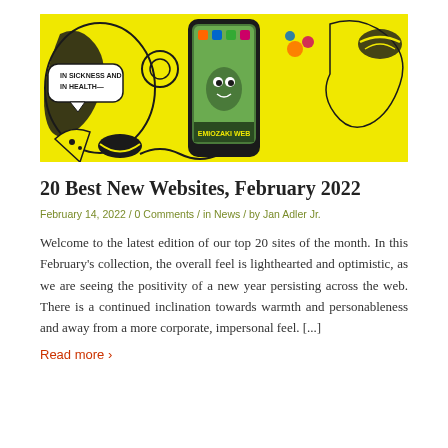[Figure (illustration): Colorful cartoon illustration with yellow background showing a smartphone displaying 'EMIOZAKI WEB', surrounded by illustrated characters, food items, and speech bubble reading 'IN SICKNESS AND IN HEALTH—']
20 Best New Websites, February 2022
February 14, 2022 / 0 Comments / in News / by Jan Adler Jr.
Welcome to the latest edition of our top 20 sites of the month. In this February's collection, the overall feel is lighthearted and optimistic, as we are seeing the positivity of a new year persisting across the web. There is a continued inclination towards warmth and personableness and away from a more corporate, impersonal feel. [...]
Read more >